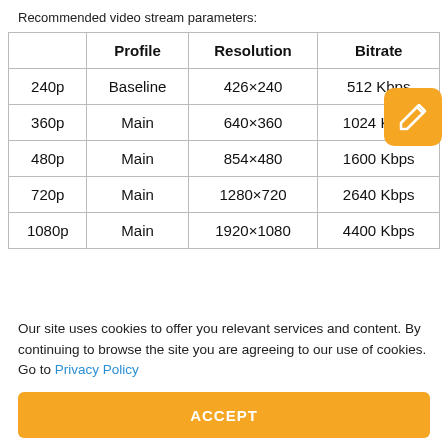Recommended video stream parameters:
|  | Profile | Resolution | Bitrate |
| --- | --- | --- | --- |
| 240p | Baseline | 426×240 | 512 Kbps |
| 360p | Main | 640×360 | 1024 Kbps |
| 480p | Main | 854×480 | 1600 Kbps |
| 720p | Main | 1280×720 | 2640 Kbps |
| 1080p | Main | 1920×1080 | 4400 Kbps |
Our site uses cookies to offer you relevant services and content. By continuing to browse the site you are agreeing to our use of cookies. Go to Privacy Policy
ACCEPT